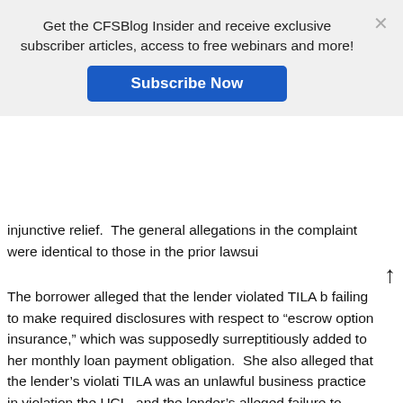[Figure (screenshot): CFSBlog Insider subscription banner overlay with 'Subscribe Now' button and close X button]
injunctive relief.  The general allegations in the complaint were identical to those in the prior lawsuit
The borrower alleged that the lender violated TILA b failing to make required disclosures with respect to “escrow option insurance,” which was supposedly surreptitiously added to her monthly loan payment obligation.  She also alleged that the lender’s violation TILA was an unlawful business practice in violation the UCL, and the lender’s alleged failure to disclose “escrow option insurance” in the loan modification agreement constituted fraudulent concealment. According to the borrower, had she known the true f she would have considered other financing options,